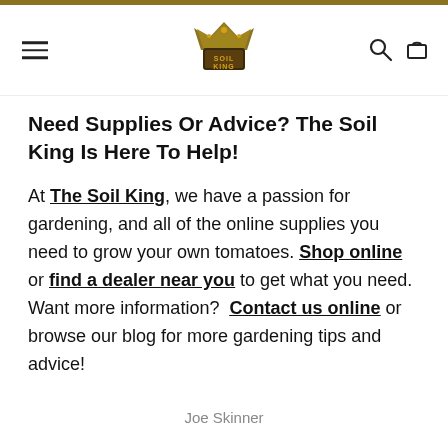Soil King — navigation header with logo, hamburger menu, search and cart icons
Need Supplies Or Advice? The Soil King Is Here To Help!
At The Soil King, we have a passion for gardening, and all of the online supplies you need to grow your own tomatoes. Shop online or find a dealer near you to get what you need. Want more information? Contact us online or browse our blog for more gardening tips and advice!
Joe Skinner